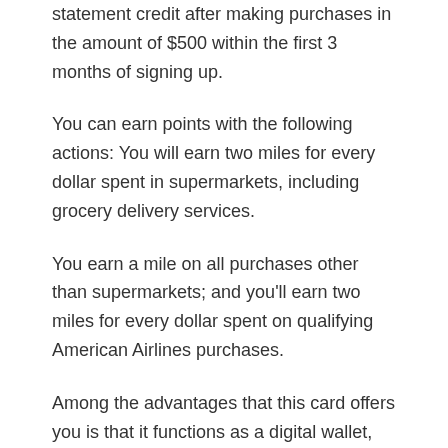statement credit after making purchases in the amount of $500 within the first 3 months of signing up.
You can earn points with the following actions: You will earn two miles for every dollar spent in supermarkets, including grocery delivery services.
You earn a mile on all purchases other than supermarkets; and you'll earn two miles for every dollar spent on qualifying American Airlines purchases.
Among the advantages that this card offers you is that it functions as a digital wallet, thus speeding up the payment process, enjoying all the great advantages that come with your card without interruption.
It is a contactless smart card, which makes your job easier